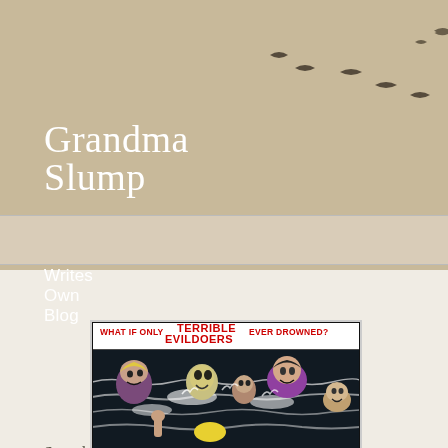Grandma Slump
Local Man Writes Own Blog
Saturday, August 3, 2019
Take Terrible Evildoers First
[Figure (illustration): Vintage comic book panel showing multiple people drowning in water with text 'WHAT IF ONLY TERRIBLE EVILDOERS EVER DROWNED?' at the top in red and black lettering]